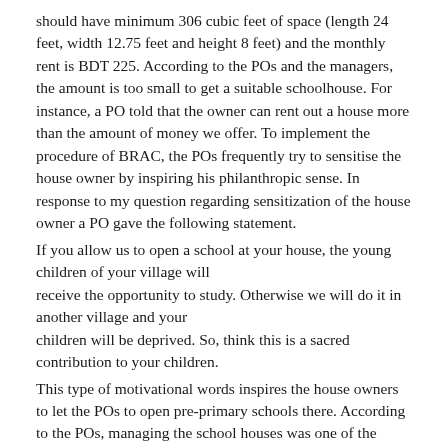should have minimum 306 cubic feet of space (length 24 feet, width 12.75 feet and height 8 feet) and the monthly rent is BDT 225. According to the POs and the managers, the amount is too small to get a suitable schoolhouse. For instance, a PO told that the owner can rent out a house more than the amount of money we offer. To implement the procedure of BRAC, the POs frequently try to sensitise the house owner by inspiring his philanthropic sense. In response to my question regarding sensitization of the house owner a PO gave the following statement.
If you allow us to open a school at your house, the young children of your village will
receive the opportunity to study. Otherwise we will do it in another village and your
children will be deprived. So, think this is a sacred contribution to your children.
This type of motivational words inspires the house owners to let the POs to open pre-primary schools there. According to the POs, managing the school houses was one of the difficult tasks for them. To solve this problem, the POs thought that increase of amount of rent might be a solution.